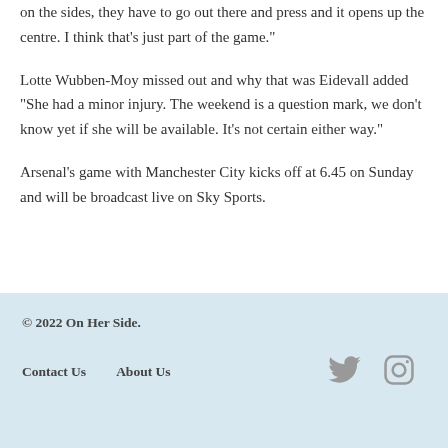on the sides, they have to go out there and press and it opens up the centre. I think that’s just part of the game.”
Lotte Wubben-Moy missed out and why that was Eidevall added “She had a minor injury. The weekend is a question mark, we don’t know yet if she will be available. It’s not certain either way.”
Arsenal’s game with Manchester City kicks off at 6.45 on Sunday and will be broadcast live on Sky Sports.
© 2022 On Her Side.  Contact Us  About Us